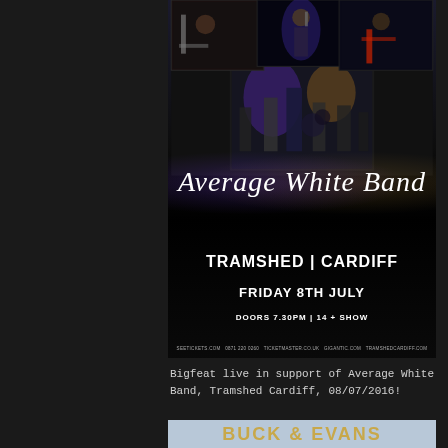[Figure (photo): Concert poster for Average White Band at Tramshed Cardiff. Features a collage of performance photos at top showing band members playing guitar, singing, and drumming. Large script font reads 'Average White Band'. Below in bold caps: 'TRAMSHED | CARDIFF', 'FRIDAY 8TH JULY', 'DOORS 7.30PM | 14 + SHOW'. Ticket info at bottom: seetickets.com, 0871 220 0260, ticketmaster.co.uk, gigantic.com, tramshedcardiff.com]
Bigfeat live in support of Average White Band, Tramshed Cardiff, 08/07/2016!
[Figure (photo): Bottom portion of a promotional image showing 'BUCK & EVANS' in large golden/yellow bold letters on a blue-grey textured background, with partial text below it partially cut off.]